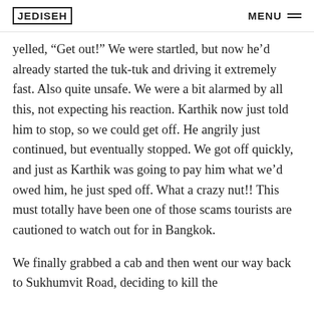JEDISEH  MENU
yelled, “Get out!” We were startled, but now he’d already started the tuk-tuk and driving it extremely fast. Also quite unsafe. We were a bit alarmed by all this, not expecting his reaction. Karthik now just told him to stop, so we could get off. He angrily just continued, but eventually stopped. We got off quickly, and just as Karthik was going to pay him what we’d owed him, he just sped off. What a crazy nut!! This must totally have been one of those scams tourists are cautioned to watch out for in Bangkok.
We finally grabbed a cab and then went our way back to Sukhumvit Road, deciding to kill the